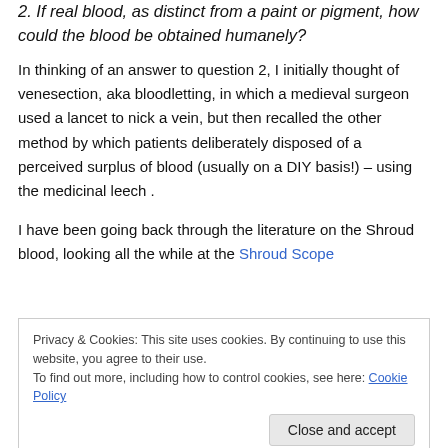2. If real blood, as distinct from a paint or pigment, how could the blood be obtained humanely?
In thinking of an answer to question 2, I initially thought of venesection, aka bloodletting, in which a medieval surgeon used a lancet to nick a vein, but then recalled the other method by which patients deliberately disposed of a perceived surplus of blood (usually on a DIY basis!) – using the medicinal leech .
I have been going back through the literature on the Shroud blood, looking all the while at the Shroud Scope
Privacy & Cookies: This site uses cookies. By continuing to use this website, you agree to their use. To find out more, including how to control cookies, see here: Cookie Policy
Close and accept